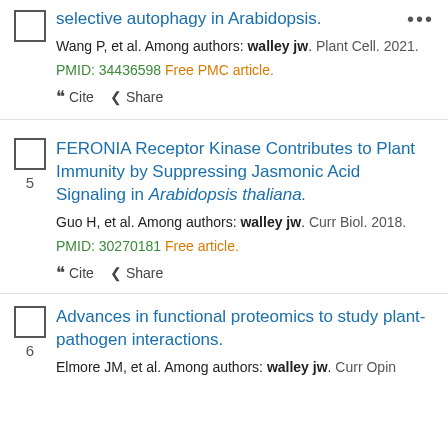selective autophagy in Arabidopsis.
Wang P, et al. Among authors: walley jw. Plant Cell. 2021.
PMID: 34436598 Free PMC article.
Cite  Share
FERONIA Receptor Kinase Contributes to Plant Immunity by Suppressing Jasmonic Acid Signaling in Arabidopsis thaliana.
Guo H, et al. Among authors: walley jw. Curr Biol. 2018.
PMID: 30270181 Free article.
Cite  Share
Advances in functional proteomics to study plant-pathogen interactions.
Elmore JM, et al. Among authors: walley jw. Curr Opin